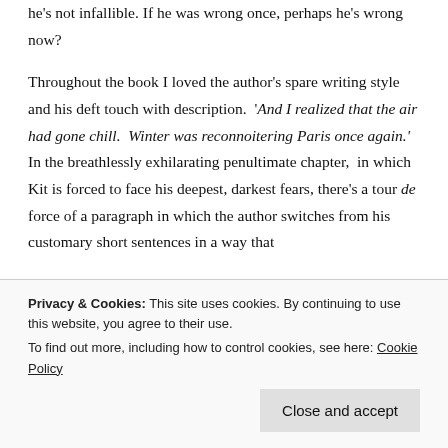he's not infallible. If he was wrong once, perhaps he's wrong now?
Throughout the book I loved the author's spare writing style and his deft touch with description. 'And I realized that the air had gone chill. Winter was reconnoitering Paris once again.' In the breathlessly exhilarating penultimate chapter, in which Kit is forced to face his deepest, darkest fears, there's a tour de force of a paragraph in which the author switches from his customary short sentences in a way that
Privacy & Cookies: This site uses cookies. By continuing to use this website, you agree to their use. To find out more, including how to control cookies, see here: Cookie Policy
Close and accept